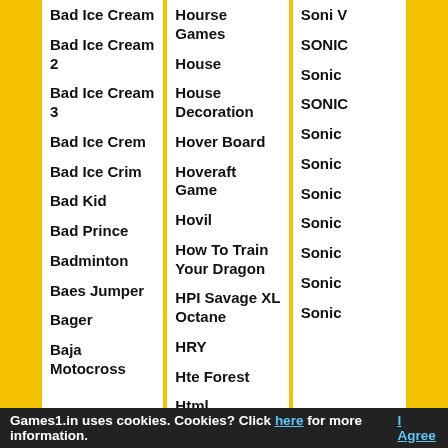Bad Ice Cream
Bad Ice Cream 2
Bad Ice Cream 3
Bad Ice Crem
Bad Ice Crim
Bad Kid
Bad Prince
Badminton
Baes Jumper
Bager
Baja Motocross
Hourse Games
House
House Decoration
Hover Board
Hoveraft Game
Hovil
How To Train Your Dragon
HPI Savage XL Octane
HRY
Hte Forest
Html
Soni V
SONIC
Sonic
SONIC
Sonic
Sonic
Sonic
Sonic
Sonic
Sonic
Sonic
Games1.in uses cookies. Cookies? Click here for more information.  I Agree